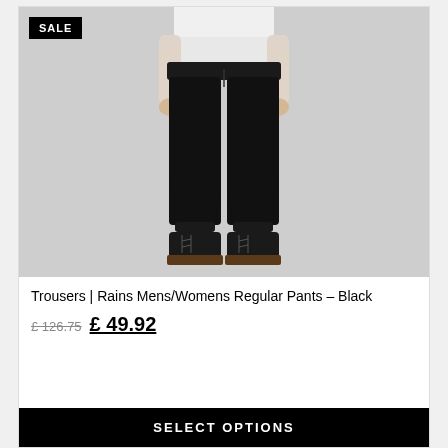[Figure (photo): Man wearing black elastic-waist tapered trousers/pants with black lace-up boots against a light grey background. A SALE badge is shown in the top-left corner of the product card.]
Trousers | Rains Mens/Womens Regular Pants – Black
£ 126.75  £ 49.92
SELECT OPTIONS